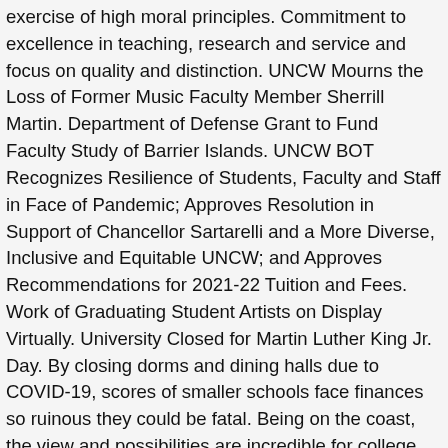exercise of high moral principles. Commitment to excellence in teaching, research and service and focus on quality and distinction. UNCW Mourns the Loss of Former Music Faculty Member Sherrill Martin. Department of Defense Grant to Fund Faculty Study of Barrier Islands. UNCW BOT Recognizes Resilience of Students, Faculty and Staff in Face of Pandemic; Approves Resolution in Support of Chancellor Sartarelli and a More Diverse, Inclusive and Equitable UNCW; and Approves Recommendations for 2021-22 Tuition and Fees. Work of Graduating Student Artists on Display Virtually. University Closed for Martin Luther King Jr. Day. By closing dorms and dining halls due to COVID-19, scores of smaller schools face finances so ruinous they could be fatal. Being on the coast, the view and possibilities are incredible for college life. Compass and find out. Undergraduate data are based on the 2019 school year. Save schools, compare and take notes. The University of North Carolina Wilmington (UNCW or UNC Wilmington) a public research university in Wilmington, North Carolina. Ranks 1st among